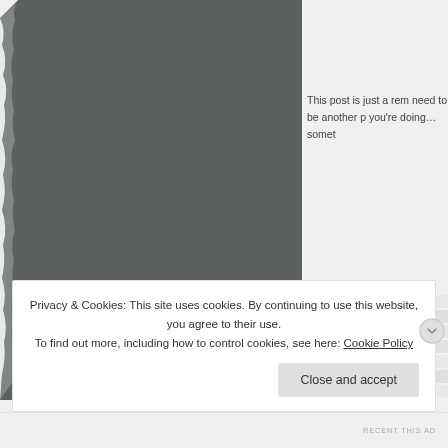[Figure (photo): Dark grey textured image occupying the left portion of the page, with torn/rough left edge effect]
This post is just a rem need to be another p you're doing…somet
Privacy & Cookies: This site uses cookies. By continuing to use this website, you agree to their use.
To find out more, including how to control cookies, see here: Cookie Policy
Close and accept
RECENT THIS AD